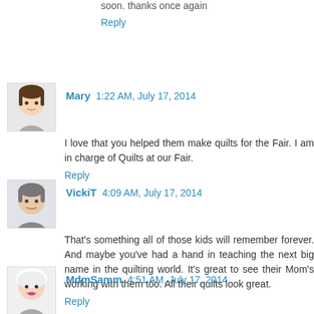soon. thanks once again
Reply
Mary  1:22 AM, July 17, 2014
I love that you helped them make quilts for the Fair. I am in charge of Quilts at our Fair.
Reply
VickiT  4:09 AM, July 17, 2014
That's something all of those kids will remember forever. And maybe you've had a hand in teaching the next big name in the quilting world. It's great to see their Mom's working with them too. All their quilts look great.
Reply
MdmSamm  4:51 AM, July 17, 2014
can you hear me clapping...way to go ladies and